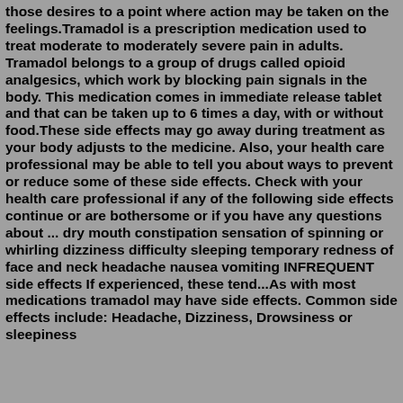those desires to a point where action may be taken on the feelings.Tramadol is a prescription medication used to treat moderate to moderately severe pain in adults. Tramadol belongs to a group of drugs called opioid analgesics, which work by blocking pain signals in the body. This medication comes in immediate release tablet and that can be taken up to 6 times a day, with or without food.These side effects may go away during treatment as your body adjusts to the medicine. Also, your health care professional may be able to tell you about ways to prevent or reduce some of these side effects. Check with your health care professional if any of the following side effects continue or are bothersome or if you have any questions about ... dry mouth constipation sensation of spinning or whirling dizziness difficulty sleeping temporary redness of face and neck headache nausea vomiting INFREQUENT side effects If experienced, these tend...As with most medications tramadol may have side effects. Common side effects include: Headache, Dizziness, Drowsiness or sleepiness